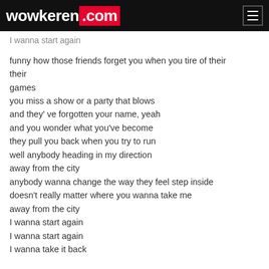wowkeren.com
I wanna start again
funny how those friends forget you when you tire of their
games
you miss a show or a party that blows
and they' ve forgotten your name, yeah
and you wonder what you've become
they pull you back when you try to run
well anybody heading in my direction
away from the city
anybody wanna change the way they feel step inside
doesn't really matter where you wanna take me
away from the city
I wanna start again
I wanna start again
I wanna take it back